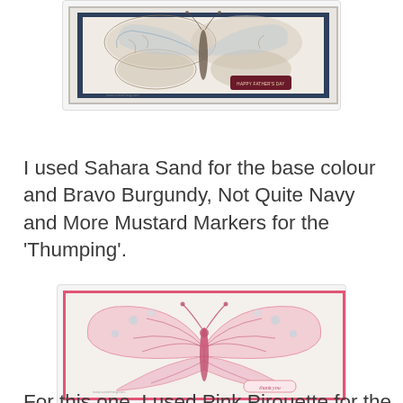[Figure (photo): A handmade greeting card with butterfly design and 'Happy Father's Day' label, featuring Sahara Sand base with Bravo Burgundy and Not Quite Navy colors]
I used Sahara Sand for the base colour and Bravo Burgundy, Not Quite Navy and More Mustard Markers for the 'Thumping'.
[Figure (photo): A handmade thank-you card with a large pink butterfly stamp on white background, framed with pink border, with 'thank you' label in lower right]
For this one, I used Pink Pirouette for the base colour